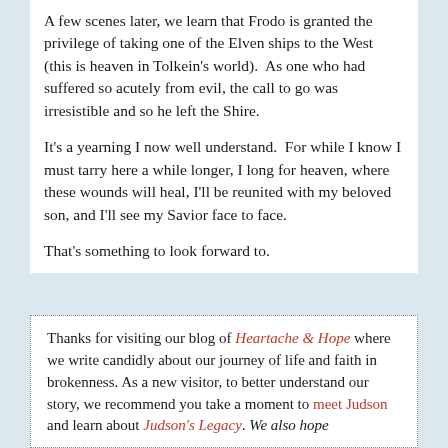A few scenes later, we learn that Frodo is granted the privilege of taking one of the Elven ships to the West (this is heaven in Tolkein's world). As one who had suffered so acutely from evil, the call to go was irresistible and so he left the Shire.
It's a yearning I now well understand. For while I know I must tarry here a while longer, I long for heaven, where these wounds will heal, I'll be reunited with my beloved son, and I'll see my Savior face to face.
That's something to look forward to.
Thanks for visiting our blog of Heartache & Hope where we write candidly about our journey of life and faith in brokenness. As a new visitor, to better understand our story, we recommend you take a moment to meet Judson and learn about Judson's Legacy. We also hope